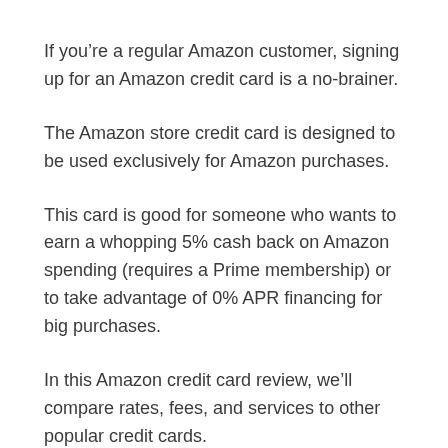If you’re a regular Amazon customer, signing up for an Amazon credit card is a no-brainer.
The Amazon store credit card is designed to be used exclusively for Amazon purchases.
This card is good for someone who wants to earn a whopping 5% cash back on Amazon spending (requires a Prime membership) or to take advantage of 0% APR financing for big purchases.
In this Amazon credit card review, we’ll compare rates, fees, and services to other popular credit cards.